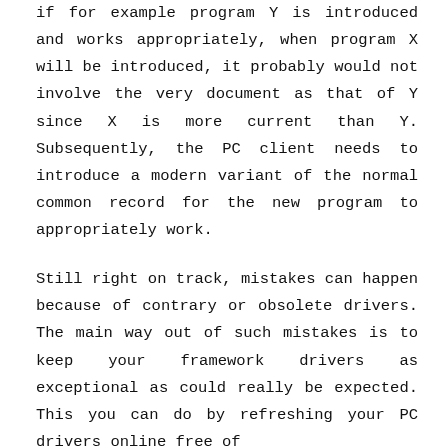if for example program Y is introduced and works appropriately, when program X will be introduced, it probably would not involve the very document as that of Y since X is more current than Y. Subsequently, the PC client needs to introduce a modern variant of the normal common record for the new program to appropriately work.
Still right on track, mistakes can happen because of contrary or obsolete drivers. The main way out of such mistakes is to keep your framework drivers as exceptional as could really be expected. This you can do by refreshing your PC drivers online free of